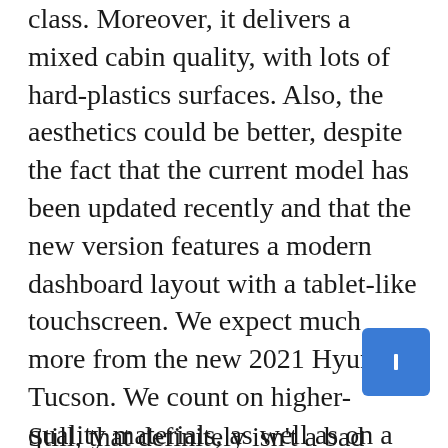class. Moreover, it delivers a mixed cabin quality, with lots of hard-plastics surfaces. Also, the aesthetics could be better, despite the fact that the current model has been updated recently and that the new version features a modern dashboard layout with a tablet-like touchscreen. We expect much more from the new 2021 Hyundai Tucson. We count on higher-quality materials, as well as on a cleaner dashboard design with a more premium feel. When it comes to the interior space, we don't expect bigger changes, as the new model probably won't be much bigger than the current one.
Still, that definitely isn't a bad thing, considering